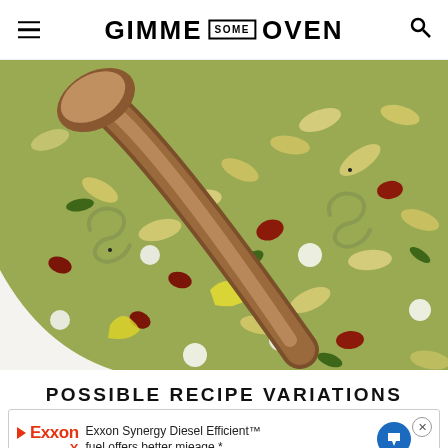GIMME SOME OVEN
[Figure (photo): Close-up overhead photo of a large white bowl of pasta salad with rotini pasta, mozzarella balls, sun-dried tomatoes, artichoke hearts, fresh basil, and a wooden spoon]
POSSIBLE RECIPE VARIATIONS
[Figure (other): Exxon advertisement banner: 'Exxon Synergy Diesel Efficient™ fuel offers better mieage.*' with Exxon logo, play button triangle, blue arrow road sign icon, and close (X) button]
As I me...pe is